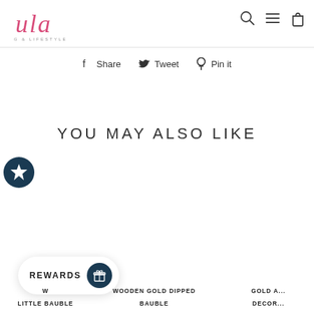[Figure (logo): ula Clothing & Lifestyle logo in pink cursive script with subtitle text]
[Figure (infographic): Navigation icons: search (magnifying glass), menu (hamburger lines), cart (shopping bag)]
Share  Tweet  Pin it
YOU MAY ALSO LIKE
[Figure (infographic): Dark teal circular badge with white star icon]
[Figure (infographic): Rewards widget showing REWARDS text with dark teal circular icon]
W... LITTLE BAUBLE
WOODEN GOLD DIPPED BAUBLE
GOLD A... DECOR...